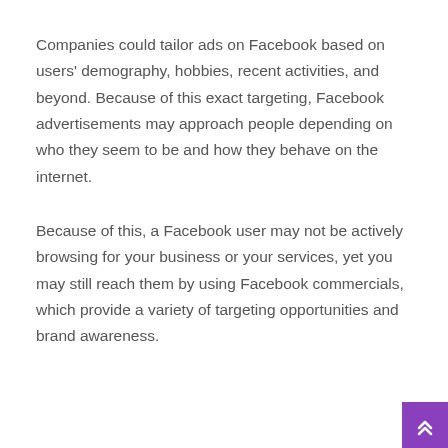Companies could tailor ads on Facebook based on users' demography, hobbies, recent activities, and beyond. Because of this exact targeting, Facebook advertisements may approach people depending on who they seem to be and how they behave on the internet.
Because of this, a Facebook user may not be actively browsing for your business or your services, yet you may still reach them by using Facebook commercials, which provide a variety of targeting opportunities and brand awareness.